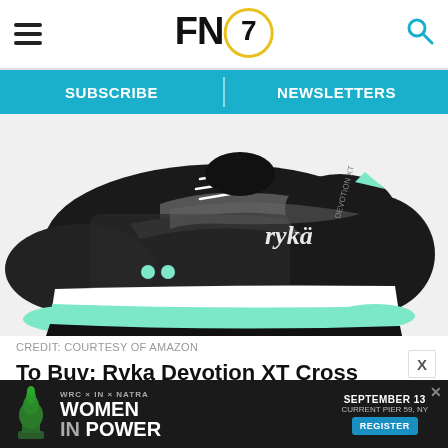FN7 — Footwear News header with navigation hamburger menu and search icon
[Figure (other): Navigation bar with SUBSCRIBE and NEWSLETTERS buttons on teal/cyan background]
[Figure (photo): Ryka Devotion XT Cross Trainers sneaker in black with mint/teal sole, photographed from the side on white background]
CREDIT: COURTESY OF AMAZON
To Buy: Ryka Devotion XT Cross Trainers, $65 was $80.
[Figure (infographic): Advertisement banner: WRC x IN x NATRA WOMEN IN POWER, SEPTEMBER 13, CURRENT PIER 59, NY, REGISTER button]